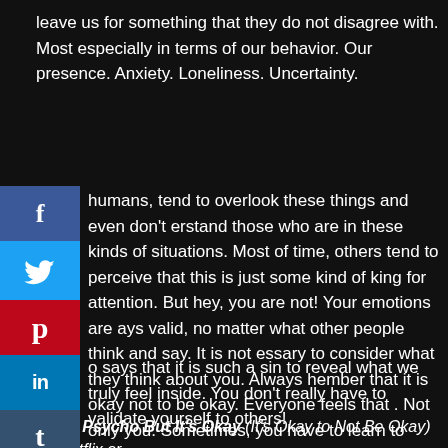leave us for something that they do not disagree with. Most especially in terms of our behavior. Our presence. Anxiety. Loneliness. Uncertainty.
[Figure (other): Social media share buttons sidebar: Facebook (blue), Twitter (light blue), Pinterest (red), LinkedIn (blue), Tumblr (dark blue), Reddit (orange), Email (blue)]
humans, tend to overlook these things and even don't erstand those who are in these kinds of situations. Most of time, others tend to perceive that this is just some kind of king for attention. But hey, you are not! Your emotions are ays valid, no matter what other people think and say. It is not essary to consider what they think about you. Always hember that it is okay not to be okay. Everyone feels that . Not only you. Sometimes, you have to learn to express r emotions. It could probably help you feel better.
o says that it is such a sin to reveal what we truly feel inside. You don't really have to validate yourself to others!
Catch Psycho But It's Okay (It's Okay to Not Be Okay) on Netflix or